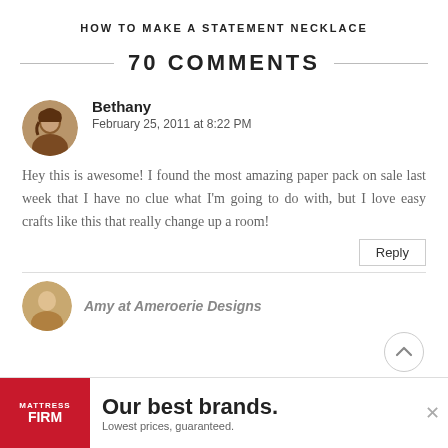HOW TO MAKE A STATEMENT NECKLACE
70 COMMENTS
Bethany
February 25, 2011 at 8:22 PM
Hey this is awesome! I found the most amazing paper pack on sale last week that I have no clue what I'm going to do with, but I love easy crafts like this that really change up a room!
Reply
[Figure (photo): Avatar photo of Bethany, a woman with dark hair]
[Figure (photo): Partial avatar of next commenter at bottom of page]
[Figure (other): Advertisement banner: Mattress Firm - Our best brands. Lowest prices, guaranteed.]